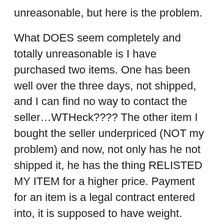unreasonable, but here is the problem. What DOES seem completely and totally unreasonable is I have purchased two items. One has been well over the three days, not shipped, and I can find no way to contact the seller…WTHeck???? The other item I bought the seller underpriced (NOT my problem) and now, not only has he not shipped it, he has the thing RELISTED MY ITEM for a higher price. Payment for an item is a legal contract entered into, it is supposed to have weight.